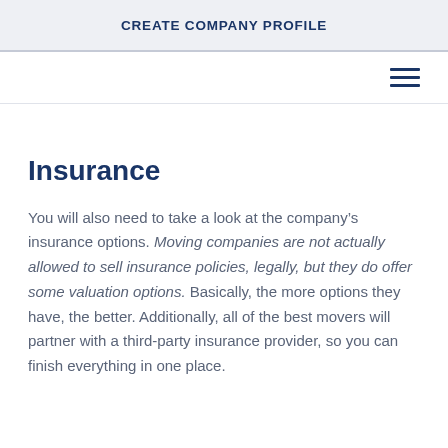CREATE COMPANY PROFILE
Insurance
You will also need to take a look at the company’s insurance options. Moving companies are not actually allowed to sell insurance policies, legally, but they do offer some valuation options. Basically, the more options they have, the better. Additionally, all of the best movers will partner with a third-party insurance provider, so you can finish everything in one place.